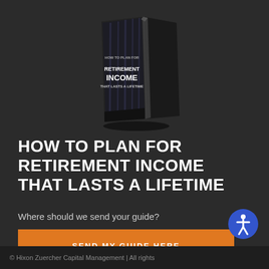[Figure (illustration): 3D rendered book cover titled 'Retirement Income That Lasts a Lifetime' with a dark building/city background, standing slightly open]
HOW TO PLAN FOR RETIREMENT INCOME THAT LASTS A LIFETIME
Where should we send your guide?
SEND MY GUIDE HERE
[Figure (illustration): Accessibility icon — blue circle with white wheelchair/person symbol]
© Hixon Zuercher Capital Management | All rights